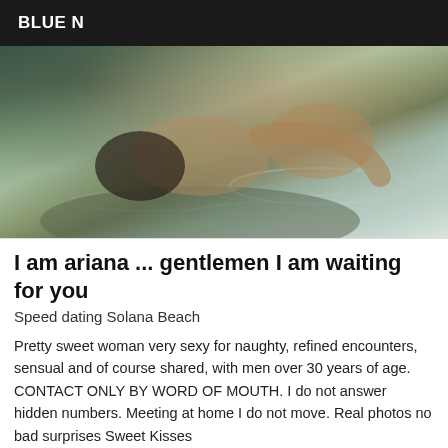BLUE N
[Figure (photo): Outdoor photo near water/rocks, person with dark hair in shallow water]
I am ariana ... gentlemen I am waiting for you
Speed dating Solana Beach
Pretty sweet woman very sexy for naughty, refined encounters, sensual and of course shared, with men over 30 years of age. CONTACT ONLY BY WORD OF MOUTH. I do not answer hidden numbers. Meeting at home I do not move. Real photos no bad surprises Sweet Kisses